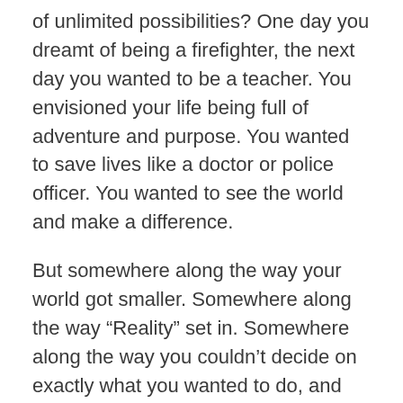of unlimited possibilities? One day you dreamt of being a firefighter, the next day you wanted to be a teacher. You envisioned your life being full of adventure and purpose. You wanted to save lives like a doctor or police officer. You wanted to see the world and make a difference.
But somewhere along the way your world got smaller. Somewhere along the way “Reality” set in. Somewhere along the way you couldn’t decide on exactly what you wanted to do, and couldn’t take the leap to achieve your goals because you didn’t want to fail and waste years of your life going down the wrong road.
What happened to the dream that you once